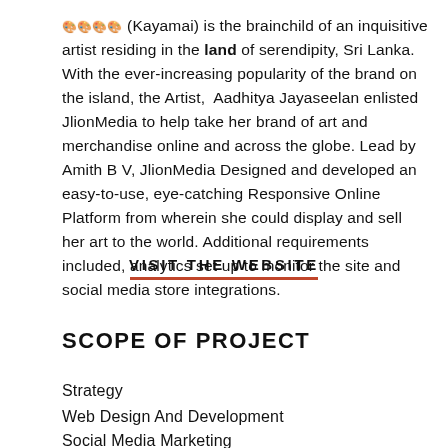🎨🎨🎨🎨 (Kayamai) is the brainchild of an inquisitive artist residing in the land of serendipity, Sri Lanka. With the ever-increasing popularity of the brand on the island, the Artist, Aadhitya Jayaseelan enlisted JlionMedia to help take her brand of art and merchandise online and across the globe. Lead by Amith B V, JlionMedia Designed and developed an easy-to-use, eye-catching Responsive Online Platform from wherein she could display and sell her art to the world. Additional requirements included, analytics set up to monitor the site and social media store integrations.
VISIT THE WEBSITE
SCOPE OF PROJECT
Strategy
Web Design And Development
Social Media Marketing